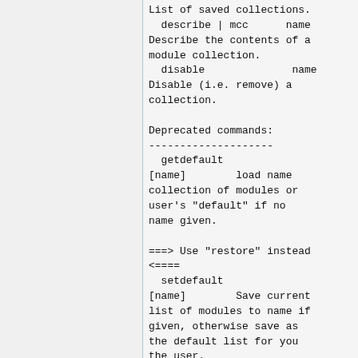List of saved collections.
  describe | mcc      name Describe the contents of a module collection.
  disable                name Disable (i.e. remove) a collection.

Deprecated commands:
--------------------
  getdefault [name]        load name collection of modules or user's "default" if no name given.

===> Use "restore" instead <====
  setdefault [name]        Save current list of modules to name if given, otherwise save as the default list for you the user.